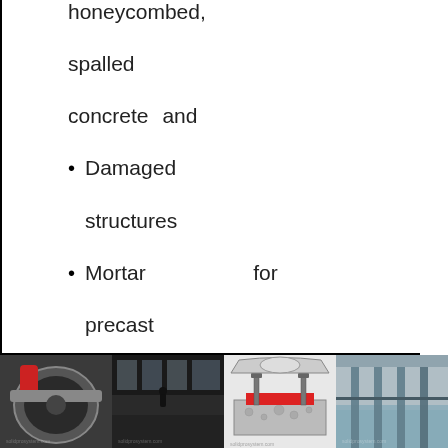honeycombed, spalled concrete and
Damaged structures
Mortar for precast connections, bearing / foundation pads
[Figure (photo): Four photographs showing construction/industrial scenes: concrete mixer, industrial interior with workers, engineering diagram of bolted bearing pad connection (red pad), and flooded or wet floor interior space.]